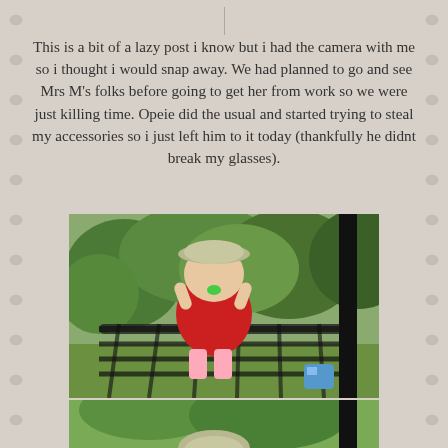[Figure (photo): Partial top photo showing cropped image at top of page]
This is a bit of a lazy post i know but i had the camera with me so i thought i would snap away. We had planned to go and see Mrs M's folks before going to get her from work so we were just killing time. Opeie did the usual and started trying to steal my accessories so i just left him to it today (thankfully he didnt break my glasses).
[Figure (photo): Photo of a toddler in a red outfit and flat cap sitting on a rope net swing in a garden setting]
[Figure (photo): Partial bottom photo of child in flat cap, cropped at bottom of page]